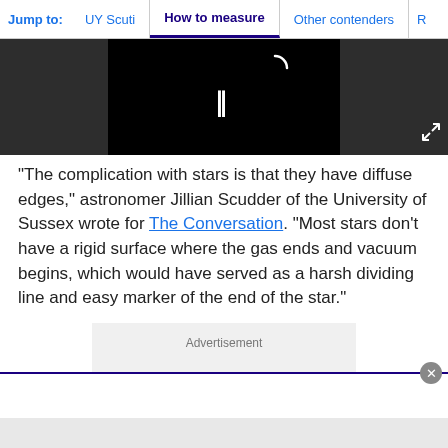Jump to: UY Scuti | How to measure | Other contenders | R
[Figure (screenshot): Video player with black screen showing a loading arc and pause button (two vertical bars) on dark gray background, with expand icon at lower right]
"The complication with stars is that they have diffuse edges," astronomer Jillian Scudder of the University of Sussex wrote for The Conversation. "Most stars don't have a rigid surface where the gas ends and vacuum begins, which would have served as a harsh dividing line and easy marker of the end of the star."
[Figure (other): Advertisement placeholder box with gray background]
Advertisement